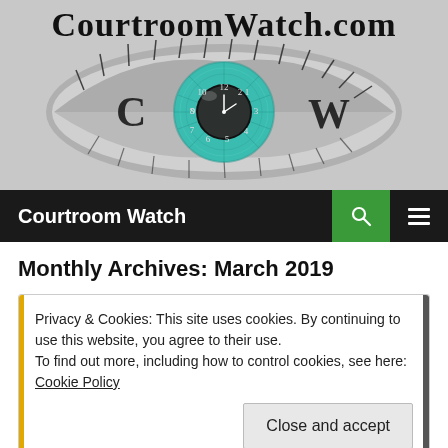[Figure (logo): CourtroomWatch.com banner logo with a large eye containing a teal clock iris, in black and white, with gothic-style text 'CourtroomWatch.com' at the top]
Courtroom Watch
Monthly Archives: March 2019
Privacy & Cookies: This site uses cookies. By continuing to use this website, you agree to their use.
To find out more, including how to control cookies, see here: Cookie Policy
Close and accept